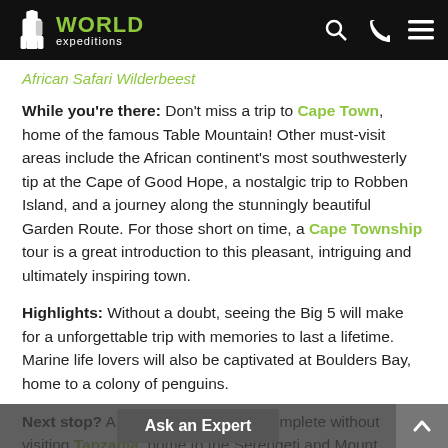WORLD expeditions
African Safari Wilderbeest
While you're there: Don't miss a trip to Cape Town, home of the famous Table Mountain! Other must-visit areas include the African continent's most southwesterly tip at the Cape of Good Hope, a nostalgic trip to Robben Island, and a journey along the stunningly beautiful Garden Route. For those short on time, a Cape Township tour is a great introduction to this pleasant, intriguing and ultimately inspiring town.
Highlights: Without a doubt, seeing the Big 5 will make for a unforgettable trip with memories to last a lifetime. Marine life lovers will also be captivated at Boulders Bay, home to a colony of penguins.
Next stop? A trip in Africa is never complete without visiting Tanzania, home to the Serengeti and Mount Kilimanjaro.